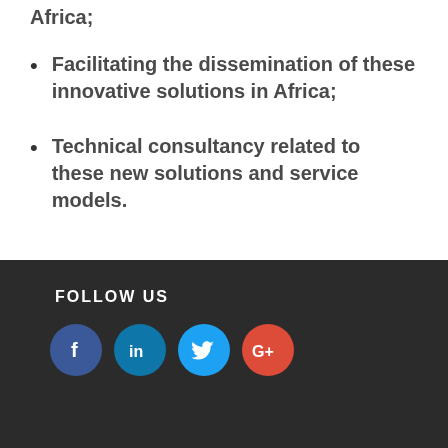Africa;
Facilitating the dissemination of these innovative solutions in Africa;
Technical consultancy related to these new solutions and service models.
FOLLOW US [Facebook, LinkedIn, Twitter, Google+]